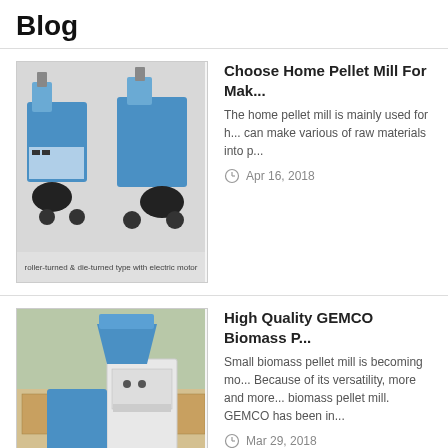Blog
[Figure (photo): Pellet mill machines - roller-turned & die-turned type with electric motor (blue machines)]
Choose Home Pellet Mill For Mak...
The home pellet mill is mainly used for h... can make various of raw materials into p...
Apr 16, 2018
[Figure (photo): High quality GEMCO biomass pellet mill machine (blue and white machine)]
High Quality GEMCO Biomass P...
Small biomass pellet mill is becoming mo... Because of its versatility, more and more... biomass pellet mill. GEMCO has been in...
Mar 29, 2018
[Figure (photo): ZLSP R-Type pellet maker machine]
Why Use ZLSP R-Type Pellet Mak...
In recent years, as the focus on renewab...